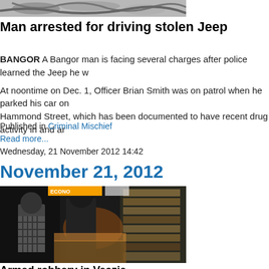[Figure (photo): Partial view of a cropped photo at top, appears to show metallic/chains object, gray tones]
Man arrested for driving stolen Jeep
BANGOR A Bangor man is facing several charges after police learned the Jeep he w
At noontime on Dec. 1, Officer Brian Smith was on patrol when he parked his car on Hammond Street, which has been documented to have recent drug activity in and ar
Published in Criminal Mischief
Read more...
Wednesday, 21 November 2012 14:42
November 21, 2012
[Figure (photo): Security camera footage showing interior of a convenience store with two people, one wearing a hooded jacket, shelves of products visible]
Armed robbery in Veazie